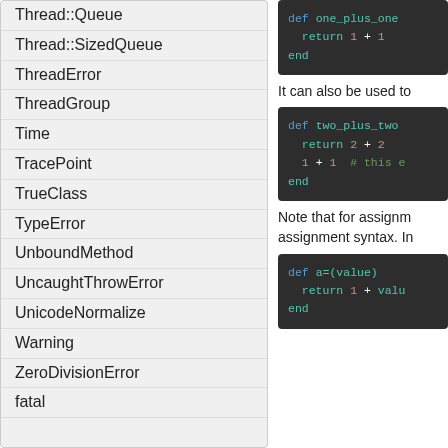Thread::Queue
Thread::SizedQueue
ThreadError
ThreadGroup
Time
TracePoint
TrueClass
TypeError
UnboundMethod
UncaughtThrowError
UnicodeNormalize
Warning
ZeroDivisionError
fatal
[Figure (screenshot): Code block: def one_plus_one / return 1 + 1 / end]
It can also be used to
[Figure (screenshot): Code block: def two_plus_two / return 2 + 2 / 1 + 1  # this e / end]
Note that for assignm assignment syntax. In
[Figure (screenshot): Code block: def a=(value) / return 1 + valu / end]